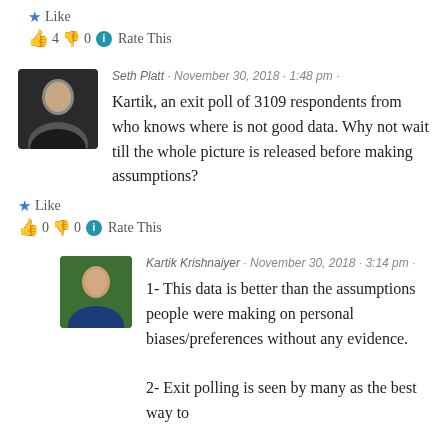★ Like
👍 4 👎 0 ℹ Rate This
Seth Platt · November 30, 2018 · 1:48 pm ·
Kartik, an exit poll of 3109 respondents from who knows where is not good data. Why not wait till the whole picture is released before making assumptions?
★ Like
👍 0 👎 0 ℹ Rate This
Kartik Krishnaiyer · November 30, 2018 · 3:14 pm ·
1- This data is better than the assumptions people were making on personal biases/preferences without any evidence.
2- Exit polling is seen by many as the best way to